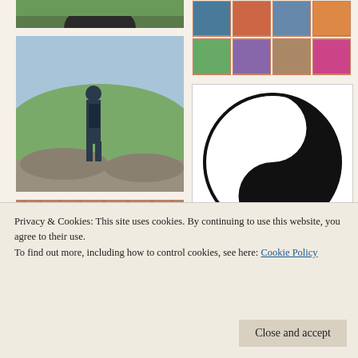[Figure (photo): Top partial photo of person outdoors with green forest background]
[Figure (photo): Grid of colorful artwork/quilt images in right column top]
[Figure (photo): Person with backpack standing on rocky overlook with panoramic valley view]
[Figure (illustration): Yin-yang symbol in black and white]
[Figure (photo): Close-up of brown animal fur texture]
[Figure (photo): Partial outdoor landscape/sky scene at bottom right]
Privacy & Cookies: This site uses cookies. By continuing to use this website, you agree to their use.
To find out more, including how to control cookies, see here: Cookie Policy
Close and accept